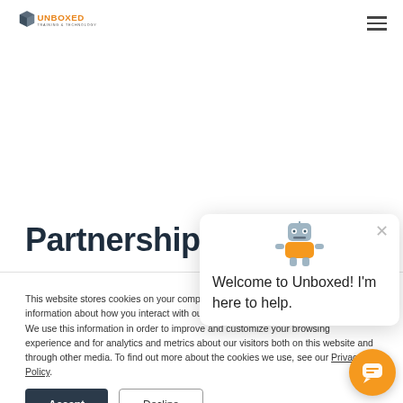Unboxed Training & Technology — navigation header with logo and hamburger menu
Partnership
This website stores cookies on your computer. These cookies are used to collect information about how you interact with our website and allow us to remember you. We use this information in order to improve and customize your browsing experience and for analytics and metrics about our visitors both on this website and through other media. To find out more about the cookies we use, see our Privacy Policy.
[Figure (screenshot): Chat popup widget with robot mascot icon. Text: Welcome to Unboxed! I'm here to help. Close (×) button in top right.]
[Figure (illustration): Orange circular chat bubble button in bottom right corner]